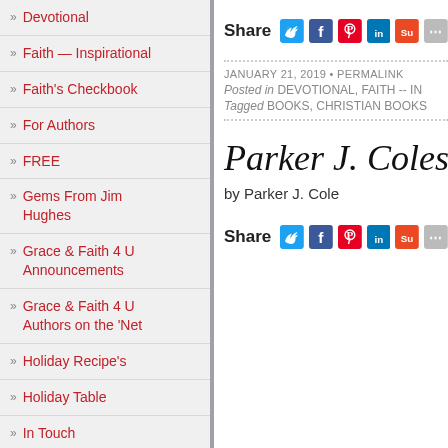» Devotional
» Faith — Inspirational
» Faith's Checkbook
» For Authors
» FREE
» Gems From Jim Hughes
» Grace & Faith 4 U Announcements
» Grace & Faith 4 U Authors on the 'Net
» Holiday Recipe's
» Holiday Table
» In Touch
[Figure (infographic): Share buttons row with Twitter, Facebook, Pinterest, LinkedIn, StumbleUpon icons]
JANUARY 21, 2019 • PERMALINK
Posted in DEVOTIONAL, FAITH -- IN
Tagged BOOKS, CHRISTIAN BOOKS
Parker J. Coles'
by Parker J. Cole
[Figure (infographic): Share buttons row with Twitter, Facebook, Pinterest, LinkedIn, StumbleUpon icons (bottom)]